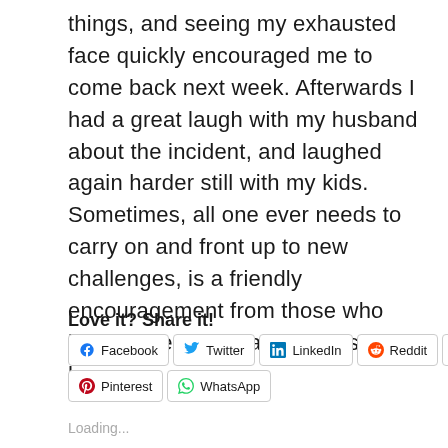things, and seeing my exhausted face quickly encouraged me to come back next week. Afterwards I had a great laugh with my husband about the incident, and laughed again harder still with my kids. Sometimes, all one ever needs to carry on and front up to new challenges, is a friendly encouragement from those who have gone before and a sense of humour.
Love it? Share it!
[Figure (screenshot): Social sharing buttons: Facebook, Twitter, LinkedIn, Reddit, Tumblr, Pinterest, WhatsApp]
Loading...